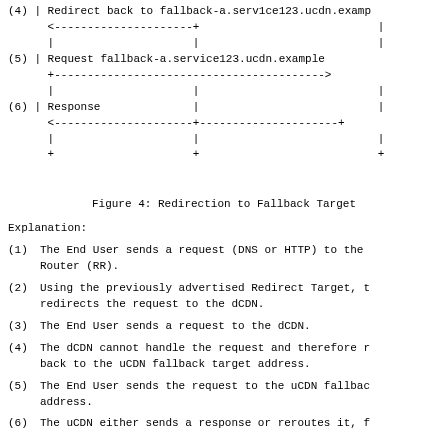[Figure (schematic): Sequence diagram showing steps (4)-(6) of redirection to fallback target. Step (4) shows redirect back to fallback-a.service123.ucdn.example with arrow going left. Step (5) shows request to fallback-a.service123.ucdn.example with arrow going right. Step (6) shows Response with arrow going left. Vertical lines and plus signs represent participants.]
Figure 4: Redirection to Fallback Target
Explanation:
(1)   The End User sends a request (DNS or HTTP) to the Router (RR).
(2)   Using the previously advertised Redirect Target, t redirects the request to the dCDN.
(3)   The End User sends a request to the dCDN.
(4)   The dCDN cannot handle the request and therefore r back to the uCDN fallback target address.
(5)   The End User sends the request to the uCDN fallbac address.
(6)   The uCDN either sends a response or reroutes it, f